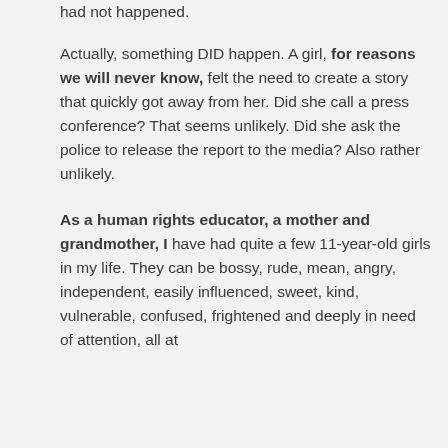had not happened.
Actually, something DID happen. A girl, for reasons we will never know, felt the need to create a story that quickly got away from her. Did she call a press conference? That seems unlikely. Did she ask the police to release the report to the media? Also rather unlikely.
As a human rights educator, a mother and grandmother, I have had quite a few 11-year-old girls in my life. They can be bossy, rude, mean, angry, independent, easily influenced, sweet, kind, vulnerable, confused, frightened and deeply in need of attention, all at